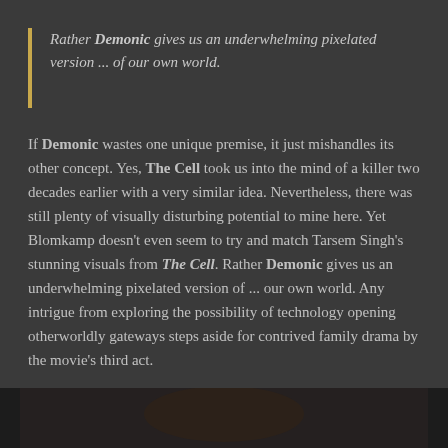Rather Demonic gives us an underwhelming pixelated version ... of our own world.
If Demonic wastes one unique premise, it just mishandles its other concept. Yes, The Cell took us into the mind of a killer two decades earlier with a very similar idea. Nevertheless, there was still plenty of visually disturbing potential to mine here. Yet Blomkamp doesn't even seem to try and match Tarsem Singh's stunning visuals from The Cell. Rather Demonic gives us an underwhelming pixelated version of ... our own world. Any intrigue from exploring the possibility of technology opening otherworldly gateways steps aside for contrived family drama by the movie's third act.
[Figure (photo): Partial photo visible at the bottom of the page, dark image showing what appears to be a person]